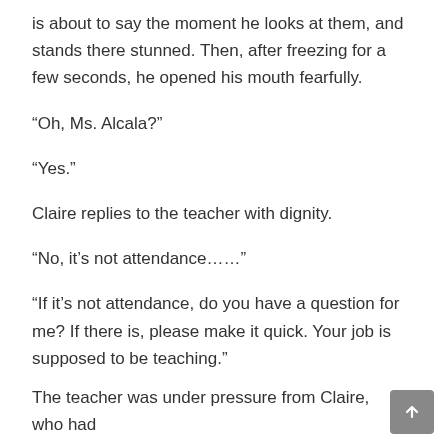is about to say the moment he looks at them, and stands there stunned. Then, after freezing for a few seconds, he opened his mouth fearfully.
“Oh, Ms. Alcala?”
“Yes.”
Claire replies to the teacher with dignity.
“No, it’s not attendance……”
“If it’s not attendance, do you have a question for me? If there is, please make it quick. Your job is supposed to be teaching.”
The teacher was under pressure from Claire, who had